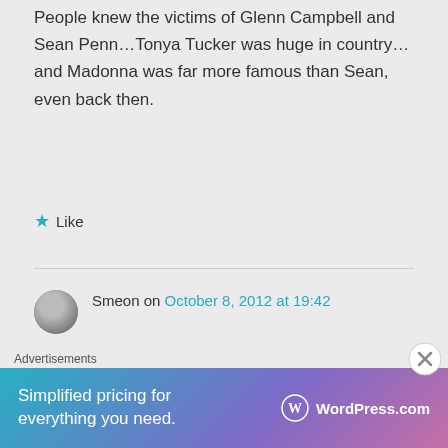People knew the victims of Glenn Campbell and Sean Penn…Tonya Tucker was huge in country…and Madonna was far more famous than Sean, even back then.
Like
Smeon on October 8, 2012 at 19:42
I prefer the article that
Advertisements
[Figure (infographic): WordPress.com advertisement banner reading 'Simplified pricing for everything you need.' with WordPress.com logo on gradient background.]